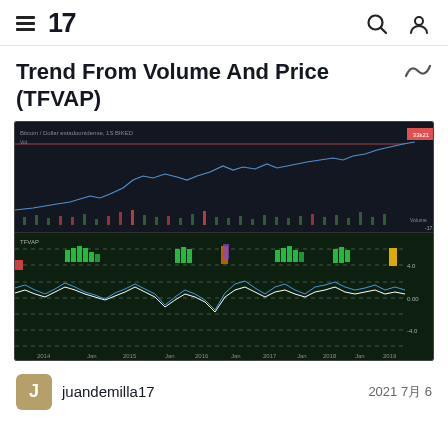TradingView — hamburger menu, logo, search, user icons
Trend From Volume And Price (TFVAP)
[Figure (continuous-plot): TradingView chart showing Bitcoin price (top panel, dark background, white/blue line rising from 2014 to 2021 with volume bars) and TFVAP indicator (bottom panel, dark green background, with colored histogram bars in green/orange/red/purple and oscillating white/blue lines with dashed horizontal gridlines at levels -4.0, 0.0, 4.0). X-axis shows years 2014 through 2021.]
juandemilla17
2021 7月 6